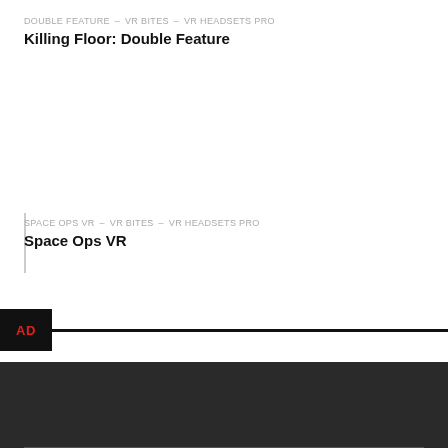DOUBLE FEATURE – VR BITES – VR HEADSETS PRO
Killing Floor: Double Feature
SPACE OPS VR – VR BITES – VR HEADSETS PRO
Space Ops VR
[Figure (other): AD label bar with black background and red AD text, followed by a horizontal black line]
[Figure (other): Dark gray footer bar with a horizontal rule at the bottom]